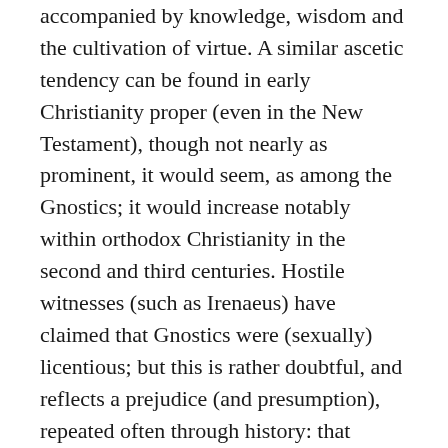accompanied by knowledge, wisdom and the cultivation of virtue. A similar ascetic tendency can be found in early Christianity proper (even in the New Testament), though not nearly as prominent, it would seem, as among the Gnostics; it would increase notably within orthodox Christianity in the second and third centuries. Hostile witnesses (such as Irenaeus) have claimed that Gnostics were (sexually) licentious; but this is rather doubtful, and reflects a prejudice (and presumption), repeated often through history: that heretics must be immoral. Most of the available evidence points in the opposite direction—if they erred in their ethics, it was in overemphasizing an ascetic